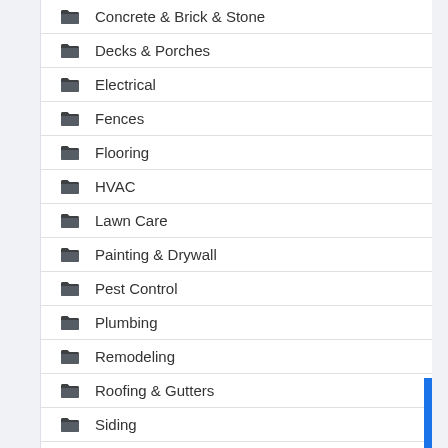Concrete & Brick & Stone
Decks & Porches
Electrical
Fences
Flooring
HVAC
Lawn Care
Painting & Drywall
Pest Control
Plumbing
Remodeling
Roofing & Gutters
Siding